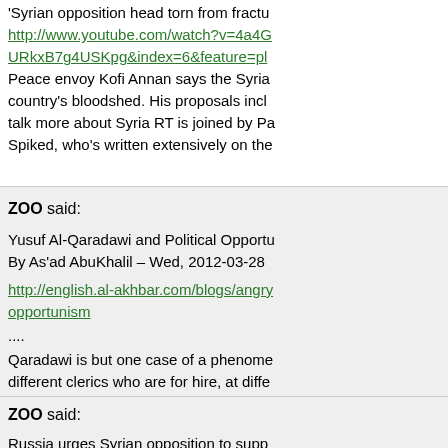'Syrian opposition head torn from fractu... http://www.youtube.com/watch?v=4a4G... URkxB7g4USKpg&index=6&feature=pl... Peace envoy Kofi Annan says the Syria... country's bloodshed. His proposals incl... talk more about Syria RT is joined by Pa... Spiked, who's written extensively on the...
March 28th, 2012, 12:56 pm
ZOO said:
Yusuf Al-Qaradawi and Political Opportu... By As'ad AbuKhalil – Wed, 2012-03-28...
http://english.al-akhbar.com/blogs/angry... opportunism
.... Qaradawi is but one case of a phenome... different clerics who are for hire, at diffe... now a member of the ruling elite in Qata... implements it. The subordination of relig... (after Muhammad) itself.
March 28th, 2012, 1:03 pm
ZOO said:
Russia urges Syrian opposition to supp... 2012-03-28 http://news.xinhuanet.com/english/wor...